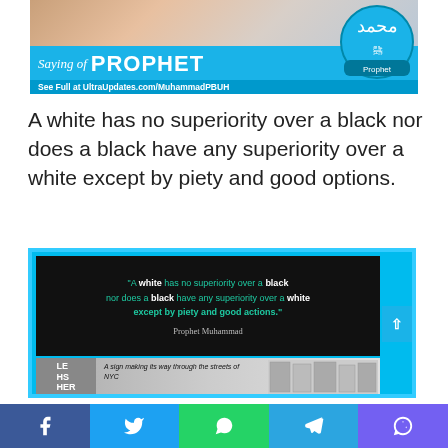[Figure (infographic): Blue banner with 'Saying of PROPHET' text and Arabic calligraphy decoration, with URL 'See Full at UltraUpdates.com/MuhammadPBUH']
A white has no superiority over a black nor does a black have any superiority over a white except by piety and good options.
[Figure (infographic): Dark quote card on cyan background with text: "A white has no superiority over a black nor does a black have any superiority over a white except by piety and good actions." Prophet Muhammad, with NYC street sign image below]
Social sharing bar with Facebook, Twitter, WhatsApp, Telegram, Viber buttons